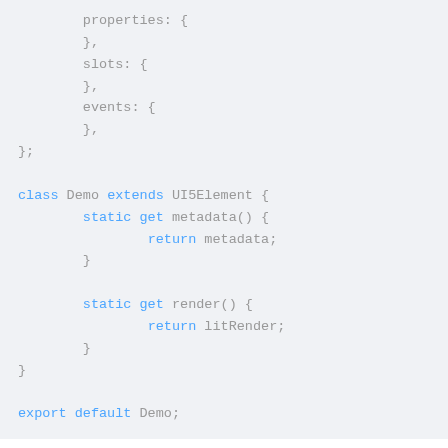[Figure (screenshot): Code snippet showing JavaScript class definition with metadata and render static getters, and export default statement]
Here we import LitRenderer.js from the @ui5/webcomponents-base package which is a very tiny wrapper around lit-html.